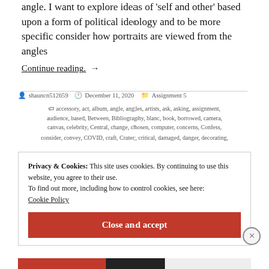angle. I want to explore ideas of 'self and other' based upon a form of political ideology and to be more specific consider how portraits are viewed from the angles
Continue reading. →
by shauncn512659  December 11, 2020  Assignment 5
accessory, act, album, angle, angles, artists, ask, asking, assignment, audience, based, Between, Bibliography, blanc, book, borrowed, camera, canvas, celebrity, Central, change, chosen, computer, concerns, Confess, consider, convey, COVID, craft, Crater, critical, damaged, danger, decorating,
Privacy & Cookies: This site uses cookies. By continuing to use this website, you agree to their use.
To find out more, including how to control cookies, see here:
Cookie Policy
Close and accept